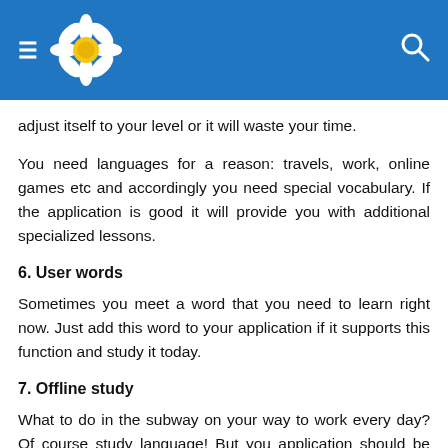≡ [flower logo] 🔍
adjust itself to your level or it will waste your time.
You need languages for a reason: travels, work, online games etc and accordingly you need special vocabulary. If the application is good it will provide you with additional specialized lessons.
6. User words
Sometimes you meet a word that you need to learn right now. Just add this word to your application if it supports this function and study it today.
7. Offline study
What to do in the subway on your way to work every day? Of course study language! But you application should be stable when working offline.